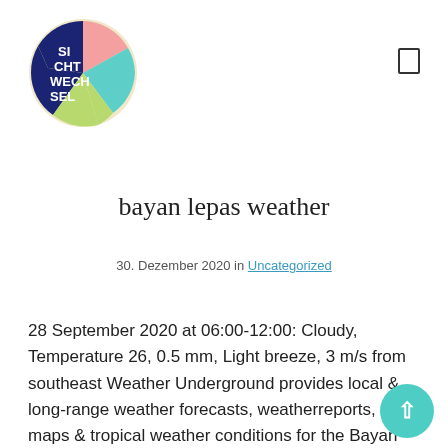[Figure (logo): Circular logo with colorful segments (pink, teal, navy, yellow-green) and white text reading 'SI CHT WECH SEL']
bayan lepas weather
30. Dezember 2020 in Uncategorized
28 September 2020 at 06:00-12:00: Cloudy, Temperature 26, 0.5 mm, Light breeze, 3 m/s from southeast Weather Underground provides local & long-range weather forecasts, weatherreports, maps & tropical weather conditions for the Bayan Lepas area. To make sure you